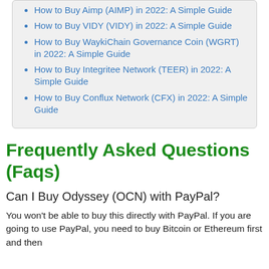How to Buy AIMP (AIMP) in 2022: A Simple Guide
How to Buy VIDY (VIDY) in 2022: A Simple Guide
How to Buy WaykiChain Governance Coin (WGRT) in 2022: A Simple Guide
How to Buy Integritee Network (TEER) in 2022: A Simple Guide
How to Buy Conflux Network (CFX) in 2022: A Simple Guide
Frequently Asked Questions (Faqs)
Can I Buy Odyssey (OCN) with PayPal?
You won't be able to buy this directly with PayPal. If you are going to use PayPal, you need to buy Bitcoin or Ethereum first and then